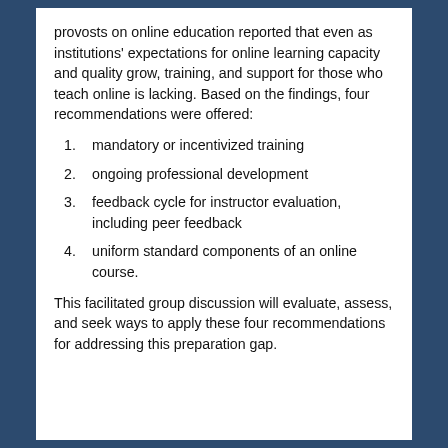provosts on online education reported that even as institutions' expectations for online learning capacity and quality grow, training, and support for those who teach online is lacking. Based on the findings, four recommendations were offered:
mandatory or incentivized training
ongoing professional development
feedback cycle for instructor evaluation, including peer feedback
uniform standard components of an online course.
This facilitated group discussion will evaluate, assess, and seek ways to apply these four recommendations for addressing this preparation gap.